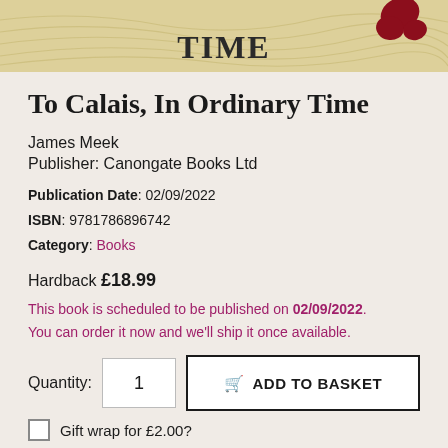[Figure (illustration): Top portion of a book cover for 'To Calais, In Ordinary Time' showing the word TIME in large letters with decorative topographic line patterns in beige/gold and red poppy/leaf shapes on the right side.]
To Calais, In Ordinary Time
James Meek
Publisher: Canongate Books Ltd
Publication Date: 02/09/2022
ISBN: 9781786896742
Category: Books
Hardback £18.99
This book is scheduled to be published on 02/09/2022. You can order it now and we'll ship it once available.
Quantity: 1  ADD TO BASKET
Gift wrap for £2.00?